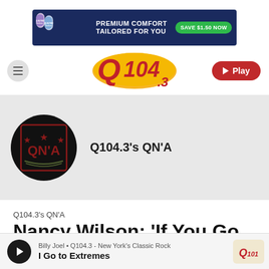[Figure (other): Advertisement banner: Quilted Northern toilet paper rolls with text 'PREMIUM COMFORT TAILORED FOR YOU' and a green 'SAVE $1.50 NOW' button on dark navy background]
[Figure (logo): Q104.3 radio station logo in red stylized text on yellow-orange brushstroke background]
[Figure (other): Hamburger menu icon (three horizontal lines) inside a grey circle]
[Figure (other): Red rounded Play button with white triangle and text 'Play']
[Figure (other): Q104.3 QN'A show logo: black circle with Q N'A text and stars, red bordered square frame inside]
Q104.3's QN'A
Q104.3's QN'A
Nancy Wilson: 'If You Go
[Figure (logo): Q104.3 mini logo in red script on tan/cream background in bottom-right of player bar]
Billy Joel • Q104.3 - New York's Classic Rock
I Go to Extremes